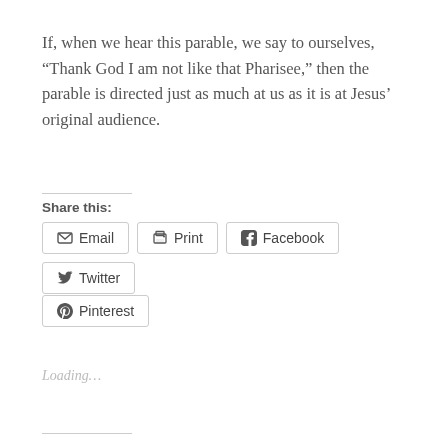If, when we hear this parable, we say to ourselves, “Thank God I am not like that Pharisee,” then the parable is directed just as much at us as it is at Jesus’ original audience.
Share this:
Email  Print  Facebook  Twitter
Pinterest
Loading...